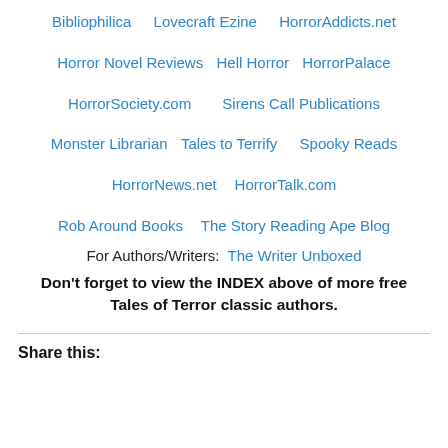Bibliophilica   Lovecraft Ezine   HorrorAddicts.net
Horror Novel Reviews   Hell Horror   HorrorPalace
HorrorSociety.com   Sirens Call Publications
Monster Librarian   Tales to Terrify   Spooky Reads
HorrorNews.net   HorrorTalk.com
Rob Around Books   The Story Reading Ape Blog
For Authors/Writers:  The Writer Unboxed
Don't forget to view the INDEX above of more free Tales of Terror classic authors.
Share this: